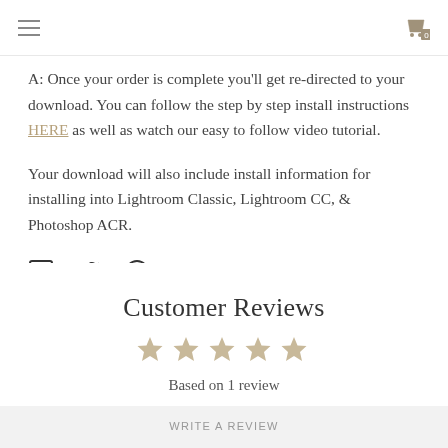Navigation header with hamburger menu and shopping cart icon showing 0
A: Once your order is complete you'll get re-directed to your download. You can follow the step by step install instructions HERE as well as watch our easy to follow video tutorial.
Your download will also include install information for installing into Lightroom Classic, Lightroom CC, & Photoshop ACR.
[Figure (other): Social share icons: Facebook, Twitter, Pinterest]
Customer Reviews
[Figure (other): Five star rating display (empty/outline stars in tan/gold color)]
Based on 1 review
WRITE A REVIEW